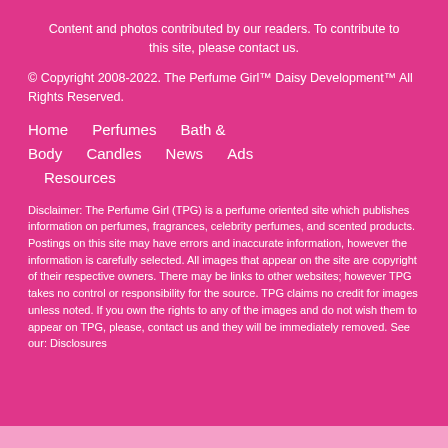Content and photos contributed by our readers. To contribute to this site, please contact us.
© Copyright 2008-2022. The Perfume Girl™ Daisy Development™ All Rights Reserved.
Home    Perfumes    Bath & Body    Candles    News    Ads    Resources
Disclaimer: The Perfume Girl (TPG) is a perfume oriented site which publishes information on perfumes, fragrances, celebrity perfumes, and scented products. Postings on this site may have errors and inaccurate information, however the information is carefully selected. All images that appear on the site are copyright of their respective owners. There may be links to other websites; however TPG takes no control or responsibility for the source. TPG claims no credit for images unless noted. If you own the rights to any of the images and do not wish them to appear on TPG, please, contact us and they will be immediately removed. See our: Disclosures